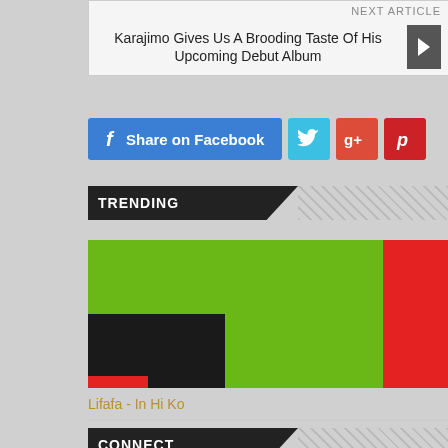NEXT ARTICLE
Karajimo Gives Us A Brooding Taste Of His Upcoming Debut Album
[Figure (screenshot): Social sharing buttons: Share on Facebook (blue), Twitter (light blue), Google+ (red-orange), Pinterest (red)]
TRENDING
[Figure (photo): Album art showing large green area with a red strip on the right, and a black block in the lower left with a small red accent at bottom]
Lifafa - In Hi Ko
CONNECT